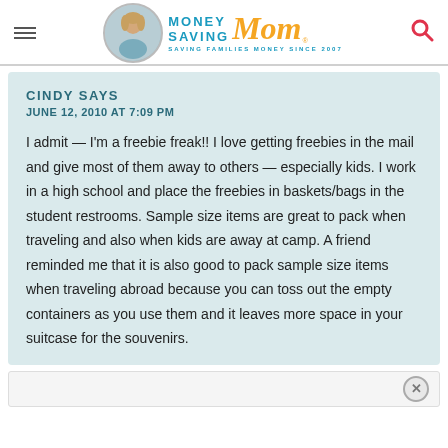[Figure (logo): Money Saving Mom logo with circular portrait photo, teal MONEY SAVING text, orange italic Mom script, tagline SAVING FAMILIES MONEY SINCE 2007]
CINDY SAYS
JUNE 12, 2010 AT 7:09 PM
I admit — I'm a freebie freak!! I love getting freebies in the mail and give most of them away to others — especially kids. I work in a high school and place the freebies in baskets/bags in the student restrooms. Sample size items are great to pack when traveling and also when kids are away at camp. A friend reminded me that it is also good to pack sample size items when traveling abroad because you can toss out the empty containers as you use them and it leaves more space in your suitcase for the souvenirs.